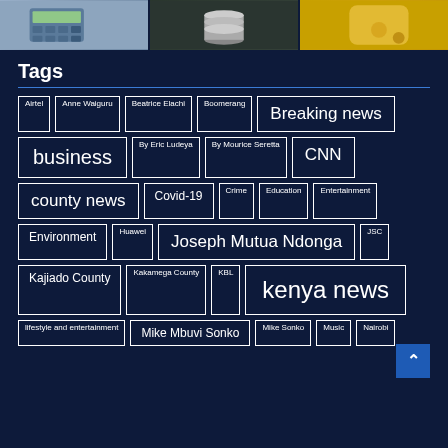[Figure (photo): Three images side by side: person using calculator, stacked coins, jar with coins/oil]
Tags
Airtel
Anne Waiguru
Beatrice Elachi
Boomerang
Breaking news
business
By Eric Ludeya
By Mourice Seretta
CNN
county news
Covid-19
Crime
Education
Entertainment
Environment
Huawei
Joseph Mutua Ndonga
JSC
Kajiado County
Kakamega County
KBL
kenya news
lifestyle and entertainment
Mike Mbuvi Sonko
Mike Sonko
Music
Nairobi